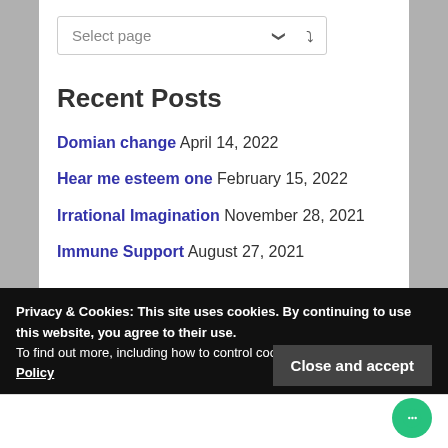[Figure (other): Select page dropdown widget]
Recent Posts
Domian change April 14, 2022
Hear me esteem one February 15, 2022
Irrational Imagination November 28, 2021
Immune Support August 27, 2021
Privacy & Cookies: This site uses cookies. By continuing to use this website, you agree to their use.
To find out more, including how to control cookies, see here: Cookie Policy
Close and accept